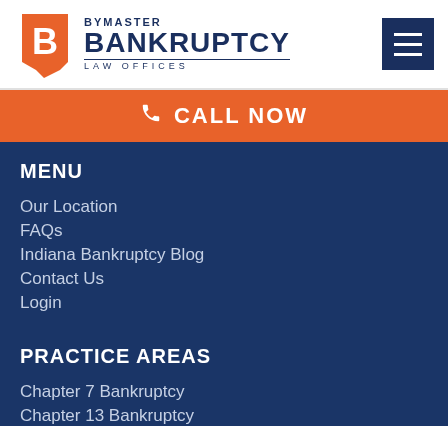[Figure (logo): Bymaster Bankruptcy Law Offices logo with Indiana state shape icon and hamburger menu button]
CALL NOW
MENU
Our Location
FAQs
Indiana Bankruptcy Blog
Contact Us
Login
PRACTICE AREAS
Chapter 7 Bankruptcy
Chapter 13 Bankruptcy